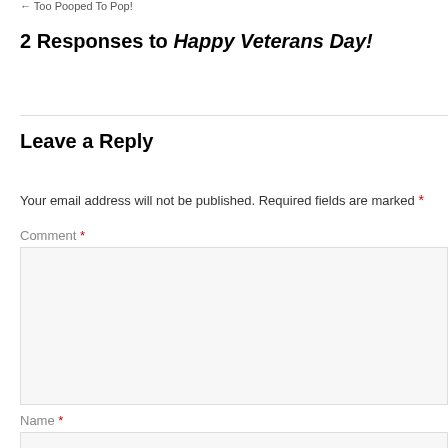← Too Pooped To Pop!
2 Responses to Happy Veterans Day!
Leave a Reply
Your email address will not be published. Required fields are marked *
Comment *
Name *